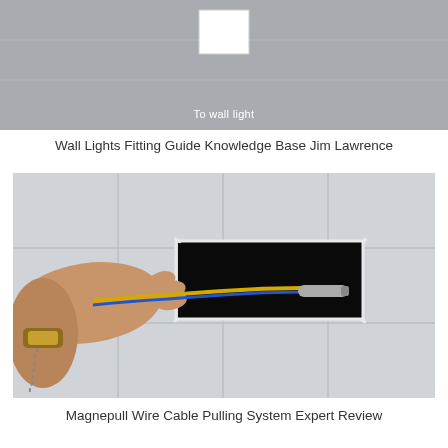[Figure (photo): Top portion of a wiring diagram or photograph showing a wall light connection label 'To wall light' on a grey background with a white box symbol]
Wall Lights Fitting Guide Knowledge Base Jim Lawrence
[Figure (photo): Photograph of a hand pulling a yellow and blue wire through a rectangular hole cut in a white tiled wall, using a metal cable-pulling tool (Magnepull device)]
Magnepull Wire Cable Pulling System Expert Review